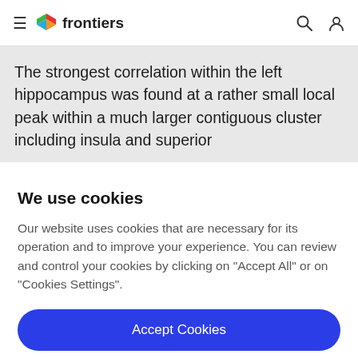frontiers
The strongest correlation within the left hippocampus was found at a rather small local peak within a much larger contiguous cluster including insula and superior
We use cookies
Our website uses cookies that are necessary for its operation and to improve your experience. You can review and control your cookies by clicking on "Accept All" or on "Cookies Settings".
Accept Cookies
Cookies Settings